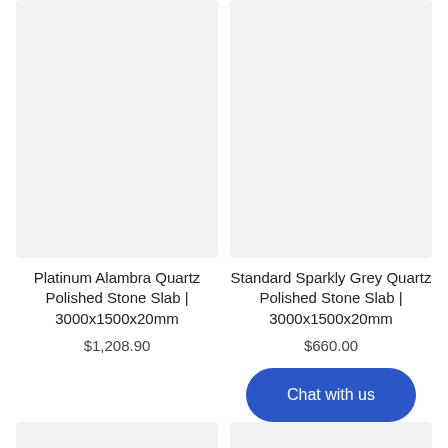[Figure (photo): Product image placeholder for Platinum Alambra Quartz Polished Stone Slab, light grey background]
[Figure (photo): Product image placeholder for Standard Sparkly Grey Quartz Polished Stone Slab, light grey background]
Platinum Alambra Quartz Polished Stone Slab | 3000x1500x20mm
Standard Sparkly Grey Quartz Polished Stone Slab | 3000x1500x20mm
$1,208.90
$660.00
[Figure (photo): Product image placeholder, bottom left, light grey background]
[Figure (photo): Product image placeholder, bottom right, light grey background]
Chat with us